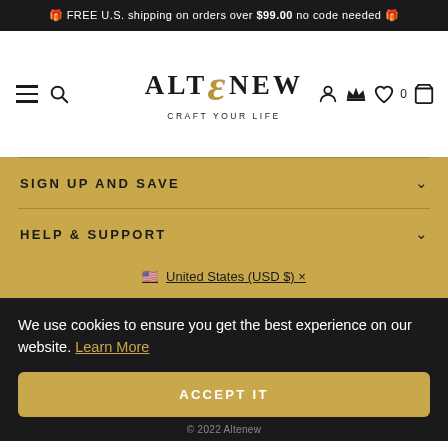🎁 FREE U.S. shipping on orders over $99.00 no code needed 🎁
[Figure (logo): Altenew logo with stylized ampersand in gold, tagline CRAFT YOUR LIFE, hamburger menu, search, account, crown/rewards, wishlist (0), and cart icons]
SIGN UP AND SAVE
HELP & SUPPORT
🇺🇸 United States (USD $) ×
We use cookies to ensure you get the best experience on our website. Learn More
ACCEPT IT
© 2022 Altenew